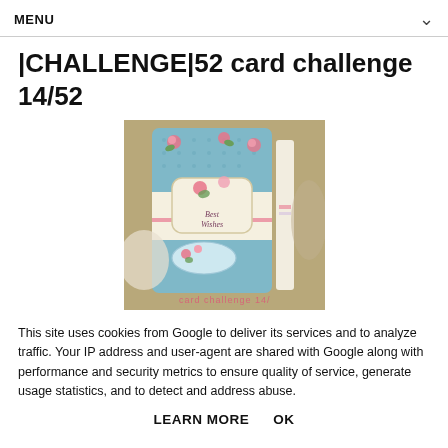MENU
|CHALLENGE|52 card challenge 14/52
[Figure (photo): A handmade greeting card with blue floral (roses) patterned paper, featuring a central decorative label with flowers and a script label reading 'Best Wishes'. Text at bottom reads 'card challenge 14/'. Card is displayed upright against a blurred background.]
This site uses cookies from Google to deliver its services and to analyze traffic. Your IP address and user-agent are shared with Google along with performance and security metrics to ensure quality of service, generate usage statistics, and to detect and address abuse.
LEARN MORE    OK